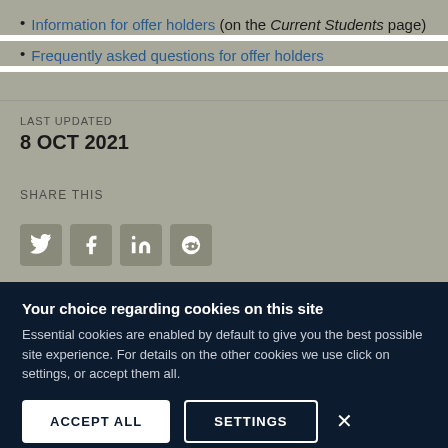Information for offer holders (on the Current Students page)
Frequently asked questions for offer holders
LAST UPDATED
8 OCT 2021
SHARE THIS
[Figure (other): Social share icons: Twitter, Facebook, LinkedIn, Reddit]
Your choice regarding cookies on this site
Essential cookies are enabled by default to give you the best possible site experience. For details on the other cookies we use click on settings, or accept them all.
ACCEPT ALL  SETTINGS  ×